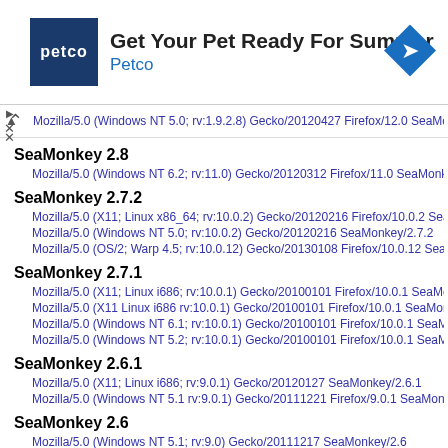[Figure (infographic): Petco advertisement banner: blue square logo with 'petco' text, heading 'Get Your Pet Ready For Summer', subheading 'Petco' in blue, and a blue diamond navigation icon on the right.]
Mozilla/5.0 (Windows NT 5.0; rv:1.9.2.8) Gecko/20120427 Firefox/12.0 SeaMonkey...
SeaMonkey 2.8
Mozilla/5.0 (Windows NT 6.2; rv:11.0) Gecko/20120312 Firefox/11.0 SeaMonkey/2...
SeaMonkey 2.7.2
Mozilla/5.0 (X11; Linux x86_64; rv:10.0.2) Gecko/20120216 Firefox/10.0.2 SeaMon...
Mozilla/5.0 (Windows NT 5.0; rv:10.0.2) Gecko/20120216 SeaMonkey/2.7.2
Mozilla/5.0 (OS/2; Warp 4.5; rv:10.0.12) Gecko/20130108 Firefox/10.0.12 SeaMonk...
SeaMonkey 2.7.1
Mozilla/5.0 (X11; Linux i686; rv:10.0.1) Gecko/20100101 Firefox/10.0.1 SeaMonkey...
Mozilla/5.0 (X11 Linux i686 rv:10.0.1) Gecko/20100101 Firefox/10.0.1 SeaMonkey/...
Mozilla/5.0 (Windows NT 6.1; rv:10.0.1) Gecko/20100101 Firefox/10.0.1 SeaMonke...
Mozilla/5.0 (Windows NT 5.2; rv:10.0.1) Gecko/20100101 Firefox/10.0.1 SeaMonke...
SeaMonkey 2.6.1
Mozilla/5.0 (X11; Linux i686; rv:9.0.1) Gecko/20120127 SeaMonkey/2.6.1
Mozilla/5.0 (Windows NT 5.1 rv:9.0.1) Gecko/20111221 Firefox/9.0.1 SeaMonkey/2...
SeaMonkey 2.6
Mozilla/5.0 (Windows NT 5.1; rv:9.0) Gecko/20111217 SeaMonkey/2.6